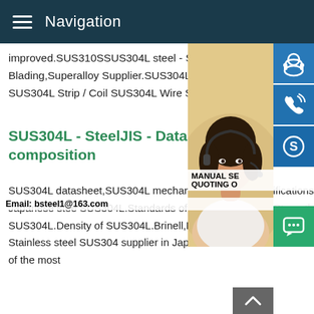Navigation
improved.SUS310SSUS304L steel - Steel Inc.Stainless Steel,Special Steel,Compressor Blading,Superalloy Supplier.SUS304L Round Bar SUS304L Hollow Bar SUS304L Tube and Plate SUS304L Strip / Coil SUS304L Wire SUS304L Tube /
SUS304L - SteelJIS - Datasheet, composition
SUS304L datasheet,SUS304L mechanical,technical specifications.Chemical composition of Japanese steel SUS304L.Standards of SUS304L.Tensile Strength of SUS304L.Elongation of SUS304L.Density of SUS304L.Brinell,Rockwell,Vickers hardness of SUS304LSUS304L vs SS304 Stainless steel SUS304 supplier in JapanThe material SUS304 is a Japanese JIS Standard and one of the most
[Figure (photo): Customer service representative woman with headset smiling]
[Figure (infographic): Three blue icon buttons: customer service, phone, Skype; manual search and quoting overlay text; email bsteel1@163.com; green chat button; gray scroll-up button]